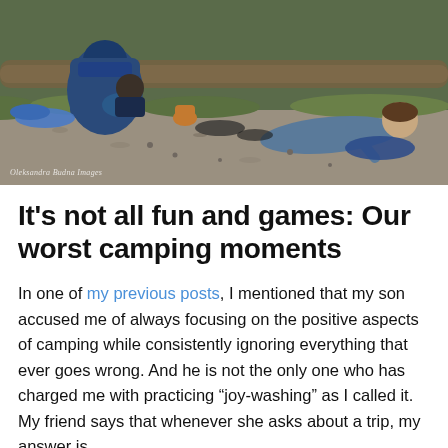[Figure (photo): Two people lying/crouching on gravel ground among outdoor camping gear including large blue backpacks and sleeping bags, surrounded by grass and logs. Watermark reads 'Oleksandra Budna Images'.]
It's not all fun and games: Our worst camping moments
In one of my previous posts, I mentioned that my son accused me of always focusing on the positive aspects of camping while consistently ignoring everything that ever goes wrong. And he is not the only one who has charged me with practicing "joy-washing" as I called it. My friend says that whenever she asks about a trip, my answer is